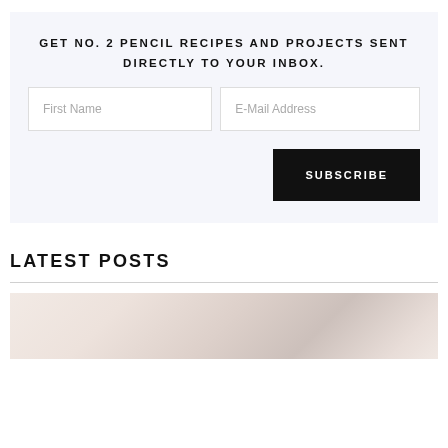GET NO. 2 PENCIL RECIPES AND PROJECTS SENT DIRECTLY TO YOUR INBOX.
[Figure (other): Email subscription form with First Name and E-Mail Address input fields and a SUBSCRIBE button]
LATEST POSTS
[Figure (photo): Partial view of a lifestyle/food photo with soft pink and neutral tones at the bottom of the page]